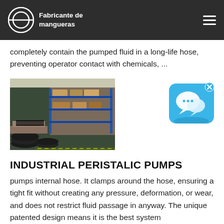Fabricante de mangueras
completely contain the pumped fluid in a long-life hose, preventing operator contact with chemicals, ...
[Figure (photo): Factory warehouse interior showing industrial hoses stacked on pallets and shelving with blue metal racks in background.]
[Figure (other): Blue chat/messaging app icon with speech bubble, with a close (x) button in top right corner.]
INDUSTRIAL PERISTALIC PUMPS
pumps internal hose. It clamps around the hose, ensuring a tight fit without creating any pressure, deformation, or wear, and does not restrict fluid passage in anyway. The unique patented design means it is the best system